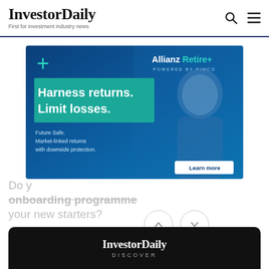InvestorDaily — First for investment industry news
[Figure (infographic): Allianz Retire+ powered by PIMCO advertisement banner. Blue gradient background with a smiling older man. Text reads: Harness returns. Limit losses. Future Safe. Market-linked returns with downside protection. Learn more button.]
Do you have an onboarding programme for your new starters?
[Figure (other): Navigation up/down arrow circle buttons]
[Figure (logo): InvestorDaily DISCOVER logo on black rounded bar at bottom]